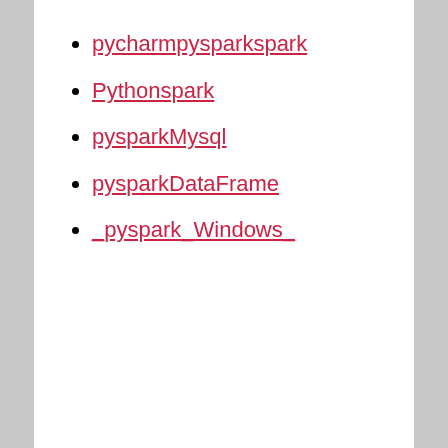pycharmpysparkspark
Pythonspark
pysparkMysql
pysparkDataFrame
_pyspark_Windows_